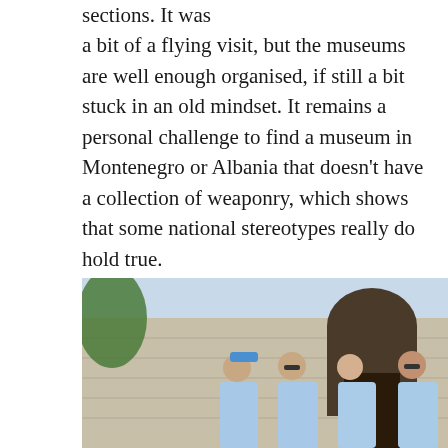sections. It was a bit of a flying visit, but the museums are well enough organised, if still a bit stuck in an old mindset. It remains a personal challenge to find a museum in Montenegro or Albania that doesn't have a collection of weaponry, which shows that some national stereotypes really do hold true.
[Figure (photo): Four people standing in front of a stone building with an arched entrance, all wearing light blue hospital-style gowns. They appear to be posing for the photo outdoors.]